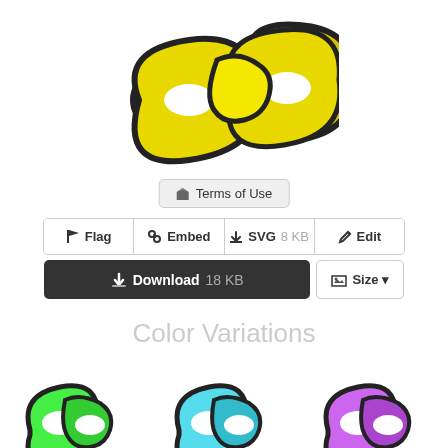[Figure (illustration): Yellow chain links clipart image at top center]
Terms of Use
Flag  Embed  SVG 8 KB  Edit
Download 18 KB  Size
Color Variations
[Figure (illustration): Three chain link color variations: green, blue/cyan, and purple]